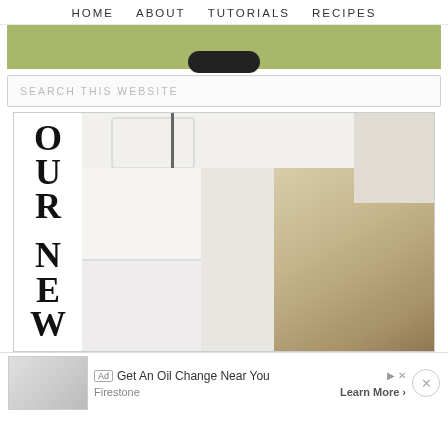HOME   ABOUT   TUTORIALS   RECIPES
[Figure (illustration): Green banner strip with a black pill/oval shape at the bottom center]
SEARCH THIS WEBSITE
[Figure (photo): Interior home photo showing a chandelier hanging from an ornate ceiling medallion, white walls with wainscoting, and a curved staircase with wood railing. Overlaid on the left side is large vertical text reading OUR NEW H(ome)]
Ad  Get An Oil Change Near You  Firestone  Learn More